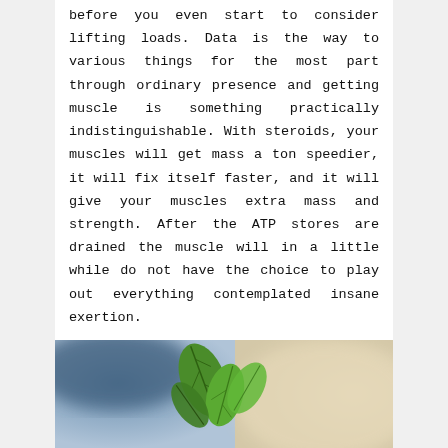before you even start to consider lifting loads. Data is the way to various things for the most part through ordinary presence and getting muscle is something practically indistinguishable. With steroids, your muscles will get mass a ton speedier, it will fix itself faster, and it will give your muscles extra mass and strength. After the ATP stores are drained the muscle will in a little while do not have the choice to play out everything contemplated insane exertion.
[Figure (photo): Close-up photo of green leaves against a blurred blue and beige/cream background]